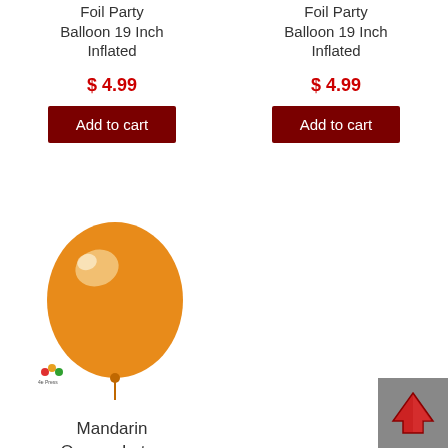Foil Party Balloon 19 Inch Inflated
$ 4.99
Add to cart
Foil Party Balloon 19 Inch Inflated
$ 4.99
Add to cart
[Figure (photo): Mandarin orange colored latex balloon product photo with brand logo]
Mandarin Orange Latex Party Balloon 12